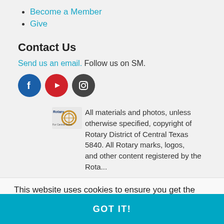Become a Member
Give
Contact Us
Send us an email. Follow us on SM.
[Figure (logo): Social media icons: Facebook (blue circle), YouTube (red circle), Instagram (dark grey circle)]
[Figure (logo): Rotary District 5840 logo — small badge with globe motif and text 'Rotary District 5840 For Central Texas']
All materials and photos, unless otherwise specified, copyright of Rotary District of Central Texas 5840. All Rotary marks, logos, and other content are registered by the Rotary...
This website uses cookies to ensure you get the best experience on our website. Learn more
GOT IT!